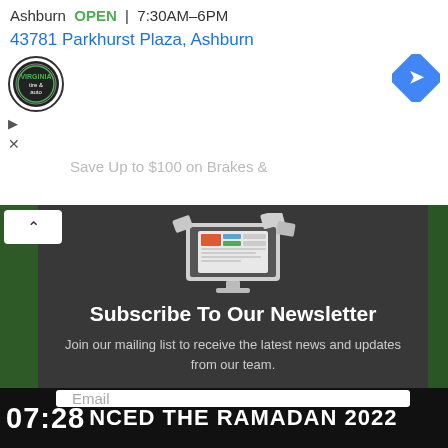Ashburn OPEN | 7:30AM–6PM
43781 Parkhurst Plaza, Ashburn
[Figure (logo): Virginia Tire & Auto circular logo]
[Figure (illustration): Blue diamond navigation/directions icon]
Save Up to $100 on Brakes &
[Figure (illustration): Newsletter subscription modal with computer/newspaper icon on dark background]
Subscribe To Our Newsletter
Join our mailing list to receive the latest news and updates from our team.
Email
07:28 NCED THE RAMADAN 2022